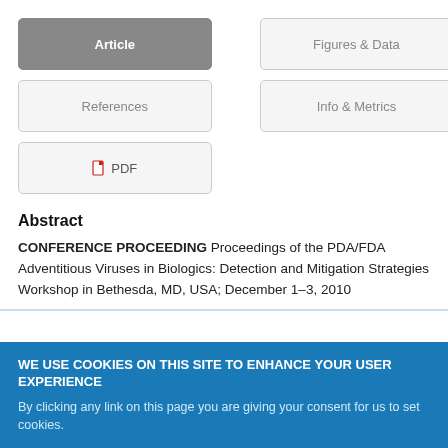[Figure (screenshot): Navigation tab buttons: Article (active/dark), Figures & Data, References, Info & Metrics, PDF]
Abstract
CONFERENCE PROCEEDING Proceedings of the PDA/FDA Adventitious Viruses in Biologics: Detection and Mitigation Strategies Workshop in Bethesda, MD, USA; December 1–3, 2010
WE USE COOKIES ON THIS SITE TO ENHANCE YOUR USER EXPERIENCE
By clicking any link on this page you are giving your consent for us to set cookies.